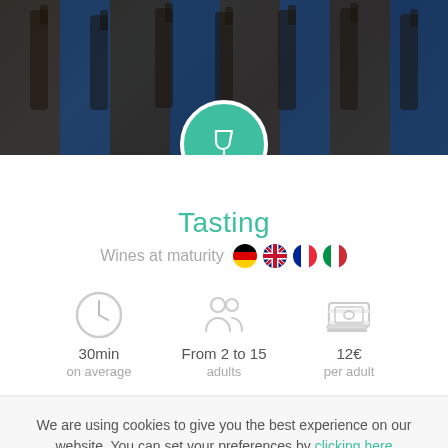[Figure (photo): Background photo of wine bottles on wooden and blue display racks]
Tasting
Wines at maturity [German flag] [UK flag] [French flag] [Italian flag]
[Figure (infographic): Three info icons: clock showing 30min on average, people showing From 2 to 15 adults, money showing 12€ per adult]
We are using cookies to give you the best experience on our website. You can set your preferences by clicking here
Accept